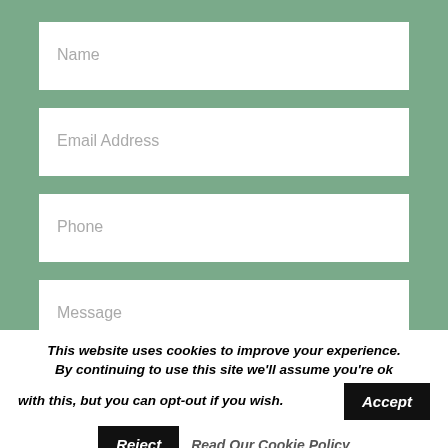Name
Email Address
Phone
Message
This website uses cookies to improve your experience. By continuing to use this site we'll assume you're ok with this, but you can opt-out if you wish.
Accept
Reject
Read Our Cookie Policy